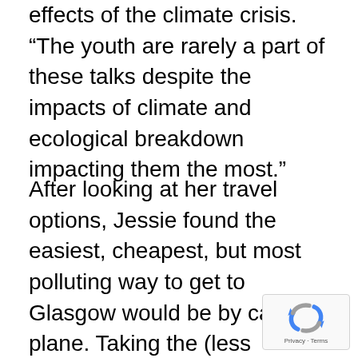which may not live to see the worst effects of the climate crisis. “The youth are rarely a part of these talks despite the impacts of climate and ecological breakdown impacting them the most.”
After looking at her travel options, Jessie found the easiest, cheapest, but most polluting way to get to Glasgow would be by car or plane. Taking the (less polluting) train looked complicated and expensive. She decided she would like to travel under her own power and resolved to cycle, and make as much noise as possible along the way.